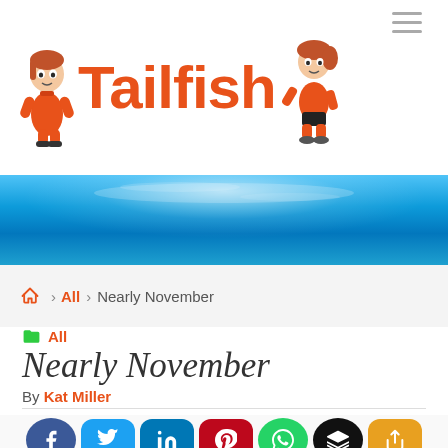Tailfish
[Figure (illustration): Ocean/underwater blue gradient banner]
Home › All › Nearly November
All
Nearly November
By Kat Miller
October 31, 2016   general review,  update
[Figure (infographic): Social share buttons: Facebook, Twitter, LinkedIn, Pinterest, WhatsApp, Buffer/Stack, Share]